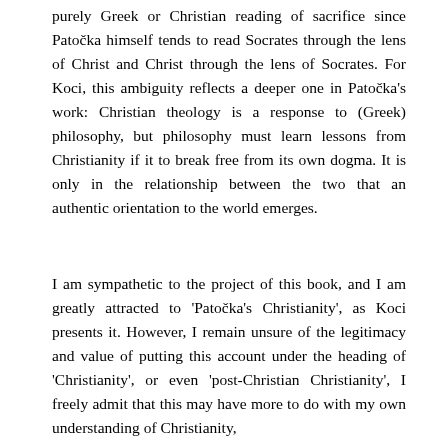purely Greek or Christian reading of sacrifice since Patočka himself tends to read Socrates through the lens of Christ and Christ through the lens of Socrates. For Koci, this ambiguity reflects a deeper one in Patočka's work: Christian theology is a response to (Greek) philosophy, but philosophy must learn lessons from Christianity if it to break free from its own dogma. It is only in the relationship between the two that an authentic orientation to the world emerges.
I am sympathetic to the project of this book, and I am greatly attracted to 'Patočka's Christianity', as Koci presents it. However, I remain unsure of the legitimacy and value of putting this account under the heading of 'Christianity', or even 'post-Christian Christianity', I freely admit that this may have more to do with my own understanding of Christianity, and it is certainly not bringing my understanding of